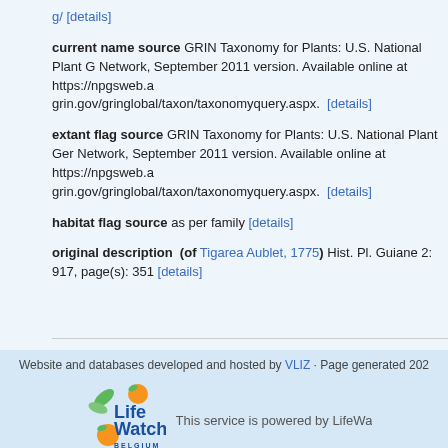g/ [details]
current name source GRIN Taxonomy for Plants: U.S. National Plant Germplasm Network, September 2011 version. Available online at https://npgsweb.ars-grin.gov/gringlobal/taxon/taxonomyquery.aspx. [details]
extant flag source GRIN Taxonomy for Plants: U.S. National Plant Germplasm Network, September 2011 version. Available online at https://npgsweb.ars-grin.gov/gringlobal/taxon/taxonomyquery.aspx. [details]
habitat flag source as per family [details]
original description (of Tigarea Aublet, 1775) Hist. Pl. Guiane 2: 917, page(s): 351 [details]
Website and databases developed and hosted by VLIZ · Page generated 202...